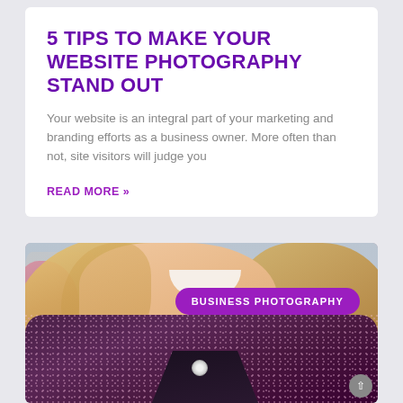5 TIPS TO MAKE YOUR WEBSITE PHOTOGRAPHY STAND OUT
Your website is an integral part of your marketing and branding efforts as a business owner. More often than not, site visitors will judge you
READ MORE »
[Figure (photo): Portrait photo of a smiling blonde woman wearing a purple/pink tweed jacket and necklace, with pink flowers visible in the background. A purple pill-shaped badge reads 'BUSINESS PHOTOGRAPHY'.]